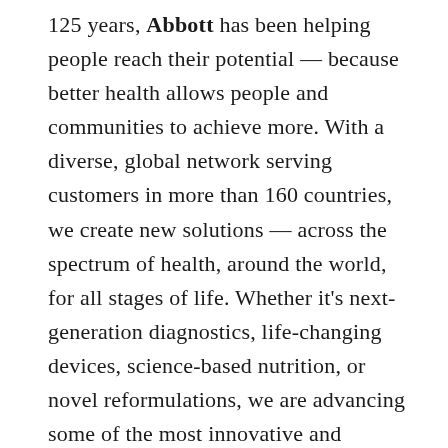125 years, Abbott has been helping people reach their potential — because better health allows people and communities to achieve more. With a diverse, global network serving customers in more than 160 countries, we create new solutions — across the spectrum of health, around the world, for all stages of life. Whether it's next-generation diagnostics, life-changing devices, science-based nutrition, or novel reformulations, we are advancing some of the most innovative and revolutionary technologies in healthcare, helping people live their best lives through better health.